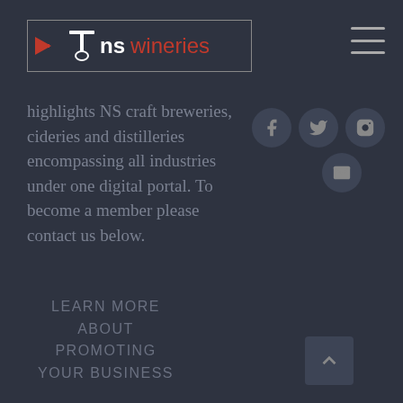[Figure (logo): vTns wineries logo with red arrow/corkscrew icon, white and red text, inside a rectangular border]
[Figure (infographic): Hamburger menu icon (three horizontal lines) in top right corner]
[Figure (infographic): Social media icon buttons: Facebook, Twitter, Instagram (top row), Email (bottom row) — circular dark grey buttons with grey icons]
highlights NS craft breweries, cideries and distilleries encompassing all industries under one digital portal. To become a member please contact us below.
LEARN MORE
ABOUT
PROMOTING
YOUR BUSINESS
[Figure (infographic): Back to top button — dark rounded square with upward-pointing chevron arrow]